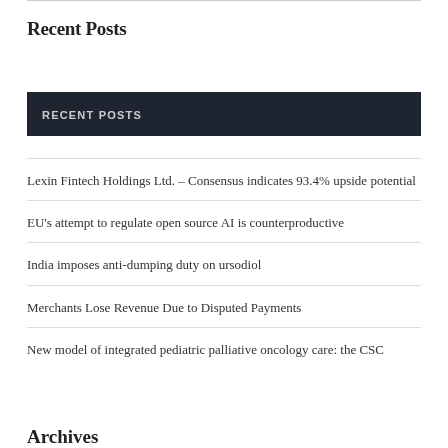Recent Posts
RECENT POSTS
Lexin Fintech Holdings Ltd. – Consensus indicates 93.4% upside potential
EU's attempt to regulate open source AI is counterproductive
India imposes anti-dumping duty on ursodiol
Merchants Lose Revenue Due to Disputed Payments
New model of integrated pediatric palliative oncology care: the CSC
Archives